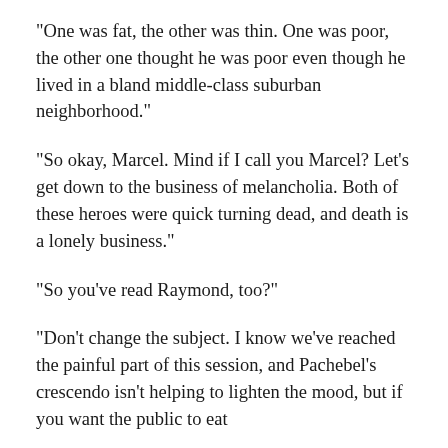“One was fat, the other was thin. One was poor, the other one thought he was poor even though he lived in a bland middle-class suburban neighborhood.”
“So okay, Marcel. Mind if I call you Marcel? Let’s get down to the business of melancholia. Both of these heroes were quick turning dead, and death is a lonely business.”
“So you’ve read Raymond, too?”
“Don’t change the subject. I know we’ve reached the painful part of this session, and Pachebel’s crescendo isn’t helping to lighten the mood, but if you want the public to eat